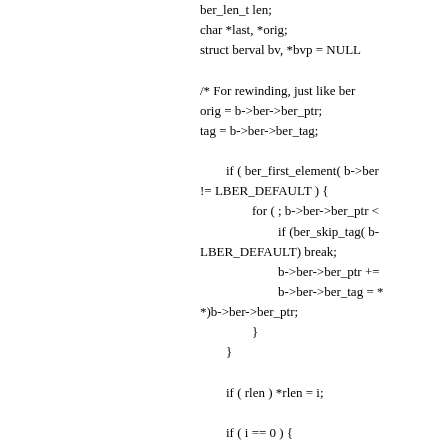Code snippet showing C source code split across two columns. Left column contains closing braces, *num = AC_NTOHL( netnum ); and return( len );. Right column contains variable declarations, comments, and control flow including ber_len_t len; char *last, *orig; struct berval bv, *bvp = NULL; /* For rewinding, just like ber... */ orig = b->ber->ber_ptr; tag = b->ber->ber_tag; if ( ber_first_element( b->ber... != LBER_DEFAULT ) { for ( ; b->ber->ber_ptr < ... if (ber_skip_tag( b-... LBER_DEFAULT) break; b->ber->ber_ptr += ... b->ber->ber_tag = * *)b->ber->ber_ptr; } } } if ( rlen ) *rlen = i; if ( i == 0 ) { *b->res.c = NULL; return 0;